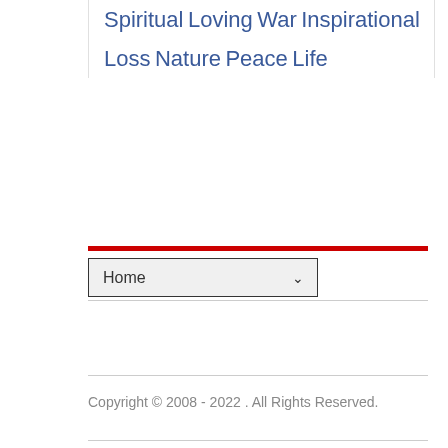Spiritual
Loving
War
Inspirational
Loss
Nature
Peace
Life
Home
Copyright © 2008 - 2022 . All Rights Reserved.